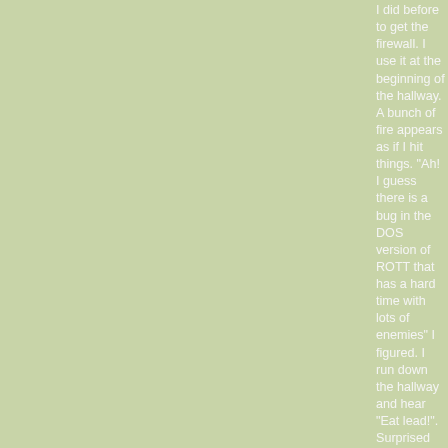I did before to get the firewall. I use it at the beginning of the hallway. A bunch of fire appears as if I hit things. "Ah! I guess there is a bug in the DOS version of ROTT that has a hard time with lots of enemies" I figured. I run down the hallway and hear "Eat lead!". Surprised by this I didn't have enough time to get away before dying. I start again, and do the same ritual as before... Get firewall, annihilate people in the hallway, and this time... I open the Enforcer door and run backwards and wait for them at the end of the hall. Wait about thirty seconds before firing the second shot from the firewall. Score! Nailed them! I run to the door and save the game. I investigate the fire-spout room and notice the passageway to the right... I explore that and find a second firewall. I explore a bit, looking for hidden walls, and hear "Here, catch" as I am about to leave the area. Dangit! Missed one of them... I try to get rid of it, but the splash damage from the Firewall missile hits me too, and I die.
After loading the savegame, I quickly get out of the room and look back at the hallway, sure enough, one more enforcer was there. I make quick work of him with the third missile of my firewall. I go back to the room, pick up the second firewall and decide to experiment a little. Since I play as Lorelei Na, I can sometimes do some random awesome stuff forming.